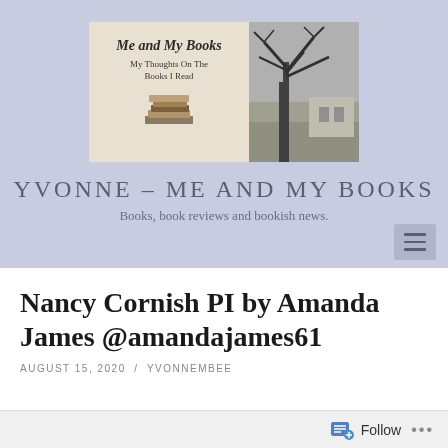[Figure (screenshot): Blog banner for 'Me and My Books' showing title text, subtitle 'My Thoughts On The Books I Read', an image of stacked books, and a black-and-white photo of a tree and building]
YVONNE – ME AND MY BOOKS
Books, book reviews and bookish news.
Nancy Cornish PI by Amanda James @amandajames61
AUGUST 15, 2020 / YVONNEMBEE
[Figure (screenshot): Follow button bar at bottom of page with follow icon, 'Follow' text, and three dots menu]